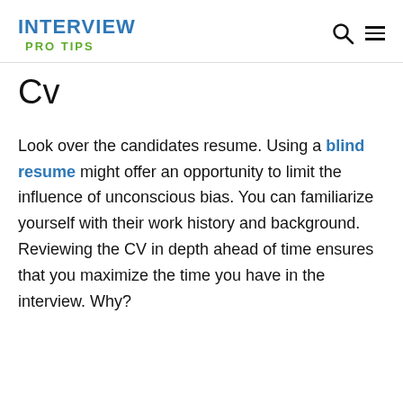INTERVIEW PRO TIPS
Cv
Look over the candidates resume. Using a blind resume might offer an opportunity to limit the influence of unconscious bias. You can familiarize yourself with their work history and background. Reviewing the CV in depth ahead of time ensures that you maximize the time you have in the interview. Why?